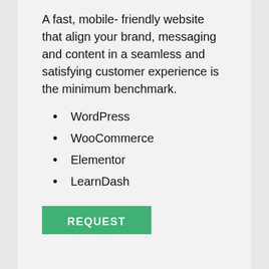A fast, mobile- friendly website that align your brand, messaging and content in a seamless and satisfying customer experience is the minimum benchmark.
WordPress
WooCommerce
Elementor
LearnDash